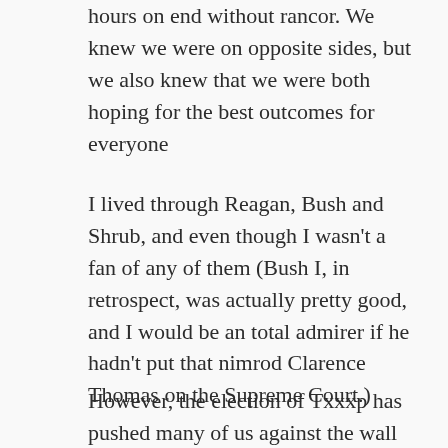hours on end without rancor. We knew we were on opposite sides, but we also knew that we were both hoping for the best outcomes for everyone
I lived through Reagan, Bush and Shrub, and even though I wasn't a fan of any of them (Bush I, in retrospect, was actually pretty good, and I would be an total admirer if he hadn't put that nimrod Clarence Thomas on the Supreme Court.)
However, the election of Txxxp has pushed many of us against the wall